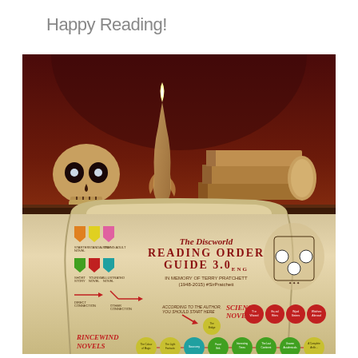Happy Reading!
[Figure (illustration): A dark fantasy illustration showing a skull candle holder with a burning candle, stacked books labeled 'WIZZARD', set against a dark red/brown background. Below the illustration is a scroll showing 'The Discworld Reading Order Guide 3.0 ENG - In Memory of Terry Pratchett (1948-2015) #SirPratchett', with a legend showing colored shields (orange, yellow, pink for Starter Novel, Standalone Novel, Younger Adult Novel) and colored badges (green, red, teal for Short Story, Tourism Novel, Illustrated Novel), and a reading order flowchart showing Rincewind Novels and Science Novels paths with colored circles naming books in the Discworld series.]